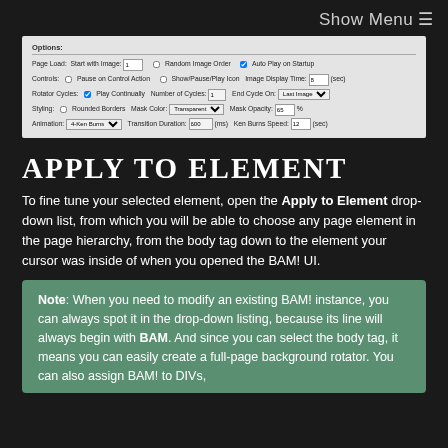Show Menu ≡
[Figure (screenshot): Screenshot of a plugin Options panel showing Page Load, Controls, Rotator Cycles, Styling, and Animation settings with dropdowns, checkboxes, and input fields.]
Apply to Element
To fine tune your selected element, open the Apply to Element drop-down list, from which you will be able to choose any page element in the page hierarchy, from the body tag down to the element your cursor was inside of when you opened the BAM! UI.
Note: When you need to modify an existing BAM! instance, you can always spot it in the drop-down listing, because its line will always begin with BAM. And since you can select the body tag, it means you can easily create a full-page background rotator. You can also assign BAM! to DIVs,